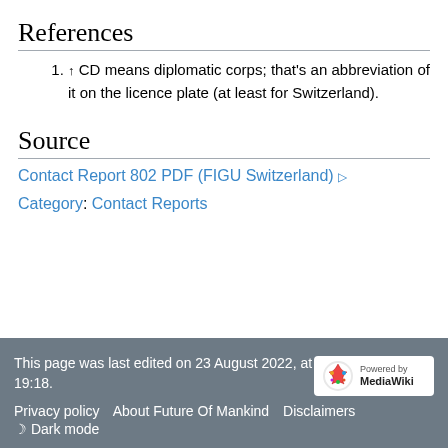References
↑ CD means diplomatic corps; that's an abbreviation of it on the licence plate (at least for Switzerland).
Source
Contact Report 802 PDF (FIGU Switzerland) ▷
Category:  Contact Reports
This page was last edited on 23 August 2022, at 19:18. Privacy policy  About Future Of Mankind  Disclaimers  ☾ Dark mode